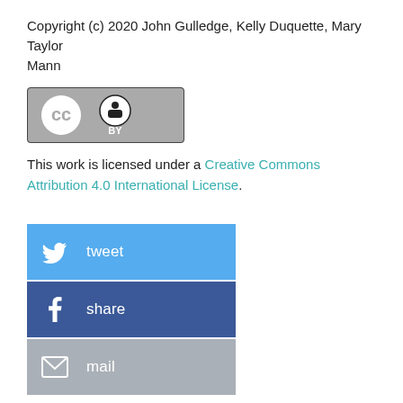Copyright (c) 2020 John Gulledge, Kelly Duquette, Mary Taylor Mann
[Figure (logo): Creative Commons CC BY license badge — grey rectangle with CC and BY icons]
This work is licensed under a Creative Commons Attribution 4.0 International License.
[Figure (infographic): Three social sharing buttons: tweet (Twitter/blue), share (Facebook/dark blue), mail (grey)]